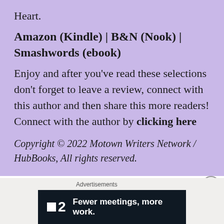Heart.
Amazon (Kindle) | B&N (Nook) | Smashwords (ebook)
Enjoy and after you've read these selections don't forget to leave a review, connect with this author and then share this more readers! Connect with the author by clicking here
Copyright © 2022 Motown Writers Network / HubBooks, All rights reserved.
[Figure (other): Close button circle with X symbol]
Advertisements
[Figure (other): Advertisement banner: dark background with logo showing a square and '2', text reads 'Fewer meetings, more work.']